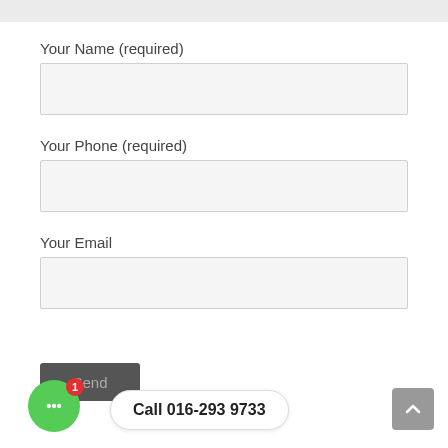Your Name (required)
[Figure (screenshot): Empty text input field for name]
Your Phone (required)
[Figure (screenshot): Empty text input field for phone]
Your Email
[Figure (screenshot): Empty text input field for email]
Send
Call 016-293 9733